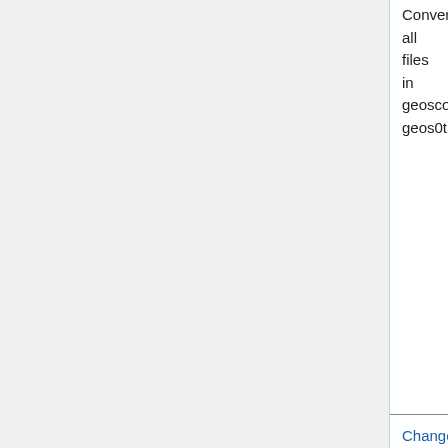Convert all files in geoscore, geos0t11, ...
Change GEOS-Chem timers from a CPP s... input.geos
Remove potential for surface CH4 retrieval... reliance on HEMCO emissions year
F...
Fix leap year handling bug in GCHP multi-r...